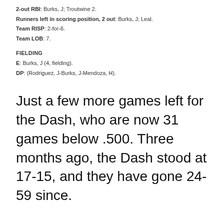2-out RBI: Burks, J; Troutwine 2.
Runners left in scoring position, 2 out: Burks, J; Leal.
Team RISP: 2-for-6.
Team LOB: 7.
FIELDING
E: Burks, J (4, fielding).
DP: (Rodriguez, J-Burks, J-Mendoza, H).
Just a few more games left for the Dash, who are now 31 games below .500. Three months ago, the Dash stood at 17-15, and they have gone 24-59 since.